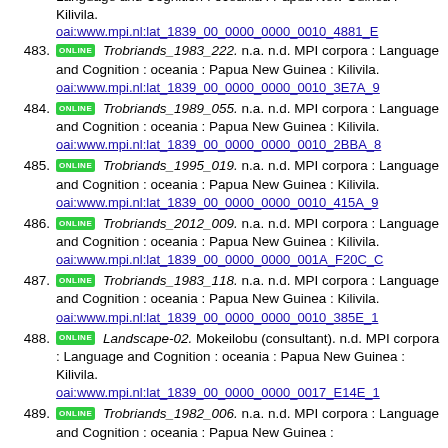Language and Cognition : oceania : Papua New Guinea : Kilivila.
oai:www.mpi.nl:lat_1839_00_0000_0000_0010_4881_E
483. ONLINE Trobriands_1983_222. n.a. n.d. MPI corpora : Language and Cognition : oceania : Papua New Guinea : Kilivila.
oai:www.mpi.nl:lat_1839_00_0000_0000_0010_3E7A_9
484. ONLINE Trobriands_1989_055. n.a. n.d. MPI corpora : Language and Cognition : oceania : Papua New Guinea : Kilivila.
oai:www.mpi.nl:lat_1839_00_0000_0000_0010_2BBA_8
485. ONLINE Trobriands_1995_019. n.a. n.d. MPI corpora : Language and Cognition : oceania : Papua New Guinea : Kilivila.
oai:www.mpi.nl:lat_1839_00_0000_0000_0010_415A_9
486. ONLINE Trobriands_2012_009. n.a. n.d. MPI corpora : Language and Cognition : oceania : Papua New Guinea : Kilivila.
oai:www.mpi.nl:lat_1839_00_0000_0000_001A_F20C_C
487. ONLINE Trobriands_1983_118. n.a. n.d. MPI corpora : Language and Cognition : oceania : Papua New Guinea : Kilivila.
oai:www.mpi.nl:lat_1839_00_0000_0000_0010_385E_1
488. ONLINE Landscape-02. Mokeilobu (consultant). n.d. MPI corpora : Language and Cognition : oceania : Papua New Guinea : Kilivila.
oai:www.mpi.nl:lat_1839_00_0000_0000_0017_E14E_1
489. ONLINE Trobriands_1982_006. n.a. n.d. MPI corpora : Language and Cognition : oceania : Papua New Guinea :